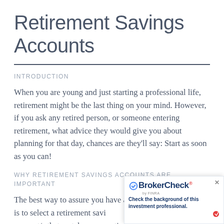Retirement Savings Accounts
INTRODUCTION
When you are young and just starting a professional life, retirement might be the last thing on your mind. However, if you ask any retired person, or someone entering retirement, what advice they would give you about planning for that day, chances are they'll say: Start as soon as you can!
WHY RETIREMENT SAVINGS ACCOUNTS ARE IMPORTANT
The best way to assure you have a comfortable retirement, is to select a retirement savings account/s that matches your retirement